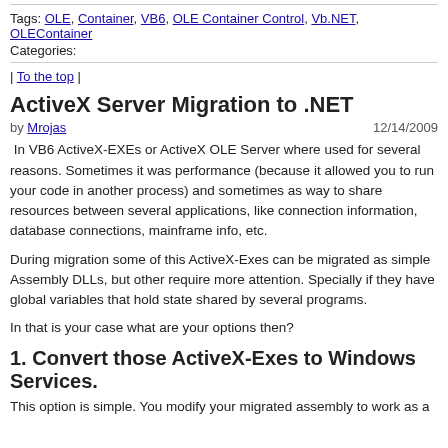Tags: OLE, Container, VB6, OLE Container Control, Vb.NET, OLEContainer
Categories:
| To the top |
ActiveX Server Migration to .NET
by Mrojas  12/14/2009
In VB6 ActiveX-EXEs or ActiveX OLE Server where used for several reasons. Sometimes it was performance (because it allowed you to run your code in another process) and sometimes as way to share resources between several applications, like connection information, database connections, mainframe info, etc.
During migration some of this ActiveX-Exes can be migrated as simple Assembly DLLs, but other require more attention. Specially if they have global variables that hold state shared by several programs.
In that is your case what are your options then?
1. Convert those ActiveX-Exes to Windows Services.
This option is simple. You modify your migrated assembly to work as a